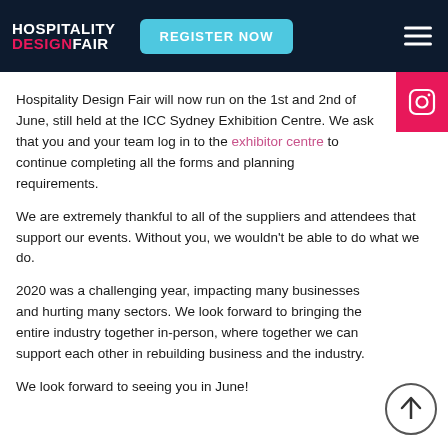HOSPITALITY DESIGNFAIR | REGISTER NOW
Hospitality Design Fair will now run on the 1st and 2nd of June, still held at the ICC Sydney Exhibition Centre. We ask that you and your team log in to the exhibitor centre to continue completing all the forms and planning requirements.
We are extremely thankful to all of the suppliers and attendees that support our events. Without you, we wouldn't be able to do what we do.
2020 was a challenging year, impacting many businesses and hurting many sectors. We look forward to bringing the entire industry together in-person, where together we can support each other in rebuilding business and the industry.
We look forward to seeing you in June!